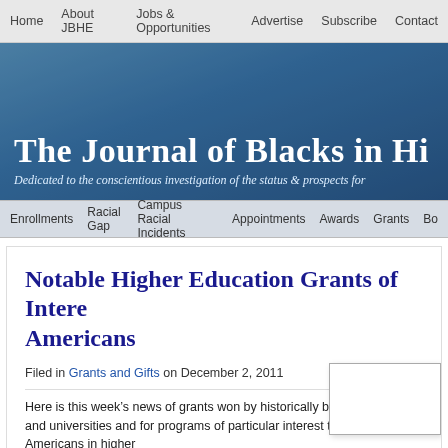Home | About JBHE | Jobs & Opportunities | Advertise | Subscribe | Contact
[Figure (illustration): Blue gradient banner header for The Journal of Blacks in Higher Education with title and subtitle text overlay]
Enrollments | Racial Gap | Campus Racial Incidents | Appointments | Awards | Grants | Bo...
Notable Higher Education Grants of Interest to African Americans
Filed in Grants and Gifts on December 2, 2011
Here is this week's news of grants won by historically black colleges and universities and for programs of particular interest to African Americans in higher...
The Mid-Atlantic Consortium-Center of Academic Excellence re... million grant from the Director of National Intelligence to prepare students fo...